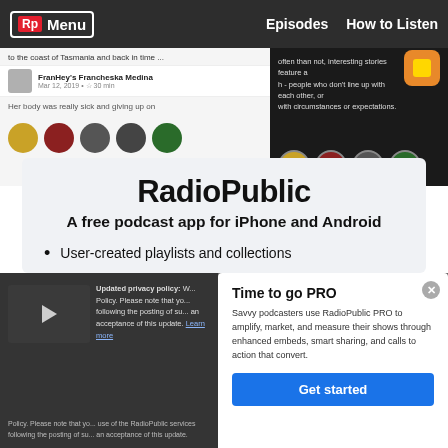Rp Menu | Episodes | How to Listen
[Figure (screenshot): Screenshot of RadioPublic app/website preview showing podcast listing with user FranHey's Francheska Medina, date Mar 12 2019, and circular episode artwork thumbnails]
RadioPublic
A free podcast app for iPhone and Android
User-created playlists and collections
Download episodes while on WiFi to listen without using mobile data
Stream podcast episodes without waiting for a download
Time to go PRO
Savvy podcasters use RadioPublic PRO to amplify, market, and measure their shows through enhanced embeds, smart sharing, and calls to action that convert.
Updated privacy policy: W... Policy. Please note that yo... following the posting of su... this update. Learn more
Get started